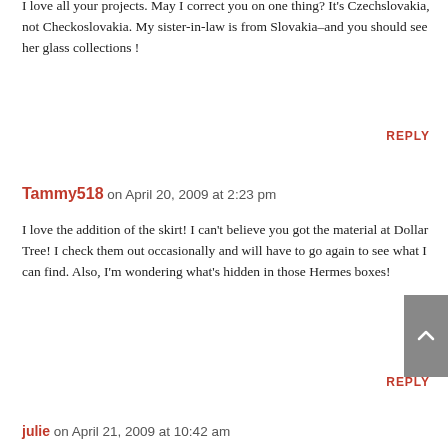I love all your projects. May I correct you on one thing? It's Czechslovakia, not Checkoslovakia. My sister-in-law is from Slovakia–and you should see her glass collections !
REPLY
Tammy518 on April 20, 2009 at 2:23 pm
I love the addition of the skirt! I can't believe you got the material at Dollar Tree! I check them out occasionally and will have to go again to see what I can find. Also, I'm wondering what's hidden in those Hermes boxes!
REPLY
julie on April 21, 2009 at 10:42 am